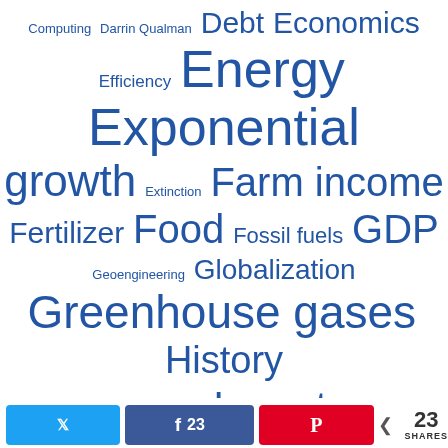[Figure (infographic): Tag/word cloud with terms related to economics, environment, and agriculture. All tags are in blue. Larger tags include: Greenhouse gases, History, Long-term, Manufacturing, Exponential, Energy, growth, GDP, Food, Farm income, Globalization, Prices, Saskatchewan, Transport, United. Smaller tags include: Computing, Darrin Qualman, Debt, Economics, Efficiency, Extinction, Fertilizer, Fossil fuels, Geoengineering, Limits, livestock, Nitrogen, Oceans, Population, solutions, UK.]
[Figure (infographic): Social share bar at bottom with Twitter button (no count), Facebook button (23 shares), Pinterest button, and total share count of 23 SHARES.]